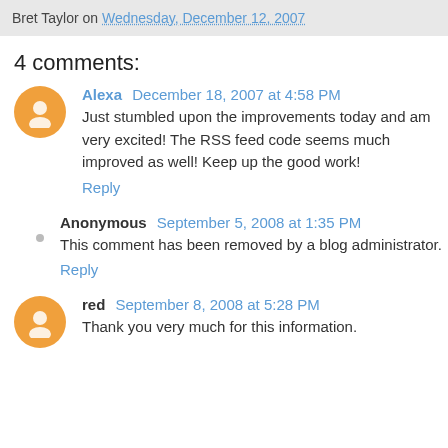Bret Taylor on Wednesday, December 12, 2007
4 comments:
Alexa  December 18, 2007 at 4:58 PM
Just stumbled upon the improvements today and am very excited! The RSS feed code seems much improved as well! Keep up the good work!
Reply
Anonymous  September 5, 2008 at 1:35 PM
This comment has been removed by a blog administrator.
Reply
red  September 8, 2008 at 5:28 PM
Thank you very much for this information.